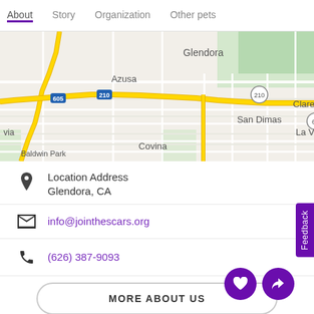About   Story   Organization   Other pets
[Figure (map): Street map showing Glendora, Azusa, San Dimas, La Verne, Claremont, Covina, Baldwin Park areas with highways 605, 210, 66 visible]
Location Address
Glendora, CA
info@jointhescars.org
(626) 387-9093
MORE ABOUT US